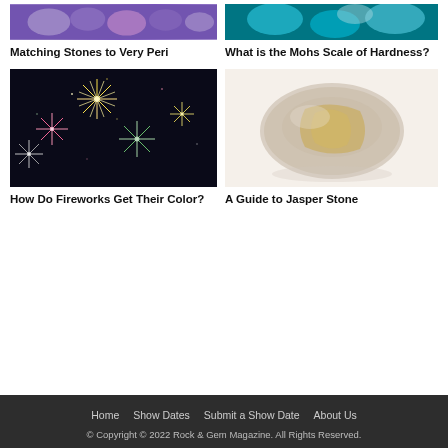[Figure (photo): Purple/violet gemstones - top left card image]
Matching Stones to Very Peri
[Figure (photo): Teal/turquoise gemstones - top right card image]
What is the Mohs Scale of Hardness?
[Figure (photo): Fireworks display at night with colorful bursts]
How Do Fireworks Get Their Color?
[Figure (photo): Smooth jasper stone, beige and tan colored]
A Guide to Jasper Stone
Home   Show Dates   Submit a Show Date   About Us
© Copyright © 2022 Rock & Gem Magazine. All Rights Reserved.